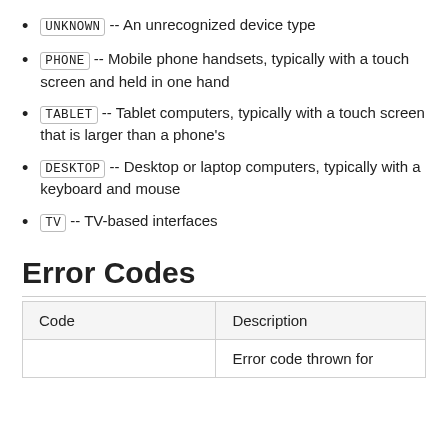UNKNOWN -- An unrecognized device type
PHONE -- Mobile phone handsets, typically with a touch screen and held in one hand
TABLET -- Tablet computers, typically with a touch screen that is larger than a phone's
DESKTOP -- Desktop or laptop computers, typically with a keyboard and mouse
TV -- TV-based interfaces
Error Codes
| Code | Description |
| --- | --- |
|  | Error code thrown for |